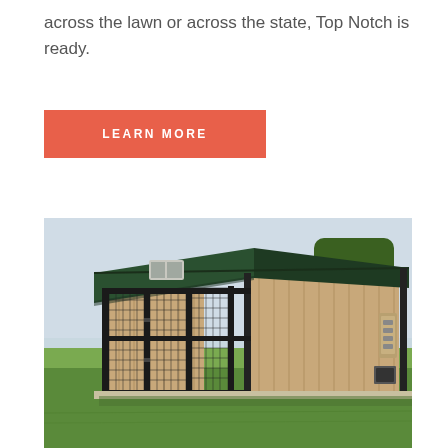across the lawn or across the state, Top Notch is ready.
LEARN MORE
[Figure (photo): Outdoor dog kennel building with wood panel siding, dark green metal roof, black steel wire fencing/runs in front, set on a green grassy lawn with trees in the background.]